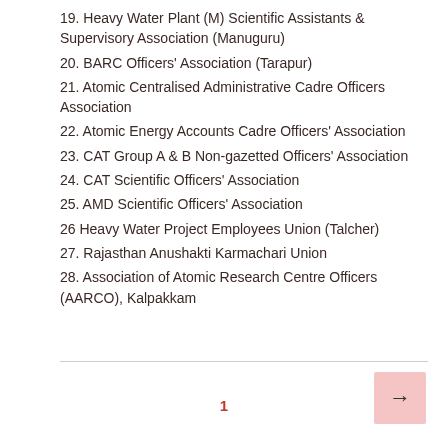19. Heavy Water Plant (M) Scientific Assistants & Supervisory Association (Manuguru)
20. BARC Officers' Association (Tarapur)
21. Atomic Centralised Administrative Cadre Officers Association
22. Atomic Energy Accounts Cadre Officers' Association
23. CAT Group A & B Non-gazetted Officers' Association
24. CAT Scientific Officers' Association
25. AMD Scientific Officers' Association
26 Heavy Water Project Employees Union (Talcher)
27. Rajasthan Anushakti Karmachari Union
28. Association of Atomic Research Centre Officers (AARCO), Kalpakkam
1